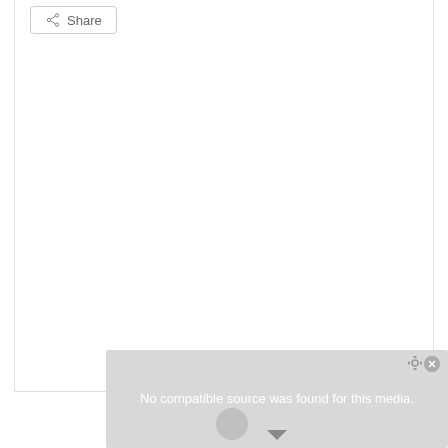[Figure (screenshot): A Share button in the upper left with a share icon and the text 'Share', followed by a large white content panel, and below it a gray media error panel reading 'No compatible source was found for this media.']
No compatible source was found for this media.